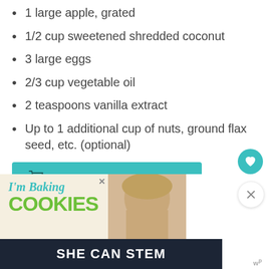1 large apple, grated
1/2 cup sweetened shredded coconut
3 large eggs
2/3 cup vegetable oil
2 teaspoons vanilla extract
Up to 1 additional cup of nuts, ground flax seed, etc. (optional)
[Figure (other): Teal 'Add to Shopping List' button with a cart icon]
Save recipes; create shopping lists, meal plans, and more.
[Figure (photo): Advertisement banner: top section shows 'I'm Baking COOKIES' in teal and green text with a person's face, bottom dark bar reads 'SHE CAN STEM']